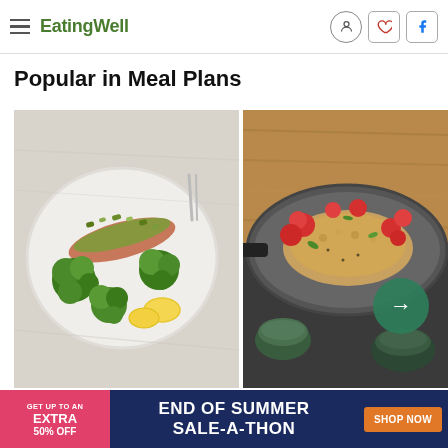EatingWell
Popular in Meal Plans
[Figure (photo): Pistachio-crusted salmon on a white plate with roasted broccoli and lemon wedges]
[Figure (photo): Chicken with tomatoes and herbs in a skillet on a wooden cutting board, with a green arrow navigation button overlay]
[Figure (infographic): Advertisement banner: pink left section 'GET UP TO AN EXTRA 50% OFF', dark navy center 'END OF SUMMER SALE-A-THON', orange button 'SHOP NOW']